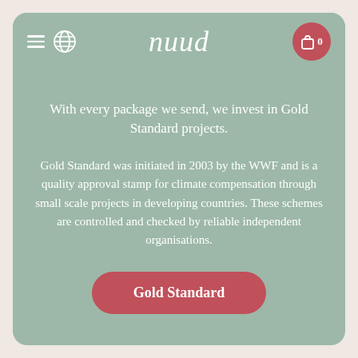nuud
With every package we send, we invest in Gold Standard projects.
Gold Standard was initiated in 2003 by the WWF and is a quality approval stamp for climate compensation through small scale projects in developing countries. These schemes are controlled and checked by reliable independent organisations.
Gold Standard